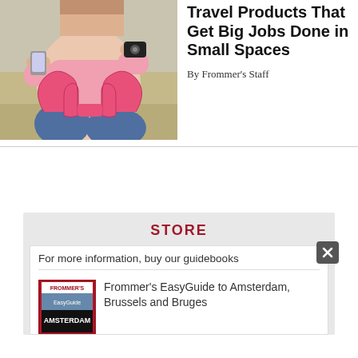[Figure (photo): Woman sitting on a couch holding a phone and camera, with a pink U-shaped travel pillow on her lap]
Travel Products That Get Big Jobs Done in Small Spaces
By Frommer's Staff
STORE
For more information, buy our guidebooks
[Figure (photo): Frommer's Amsterdam guidebook cover]
Frommer's EasyGuide to Amsterdam, Brussels and Bruges